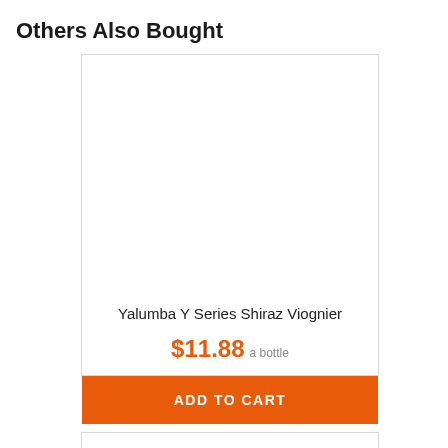Others Also Bought
[Figure (other): Product card image area (empty/white) for Yalumba Y Series Shiraz Viognier wine bottle]
Yalumba Y Series Shiraz Viognier
$11.88 a bottle
ADD TO CART